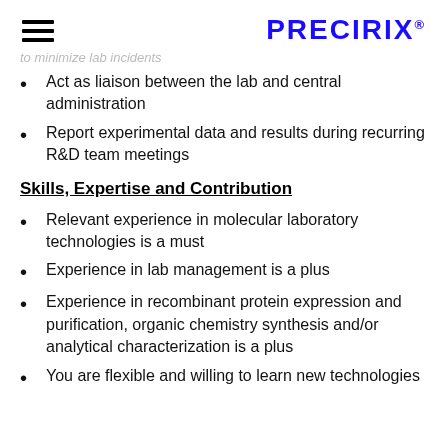PRECIRIX®
to minimize lab incidents
Act as liaison between the lab and central administration
Report experimental data and results during recurring R&D team meetings
Skills, Expertise and Contribution
Relevant experience in molecular laboratory technologies is a must
Experience in lab management is a plus
Experience in recombinant protein expression and purification, organic chemistry synthesis and/or analytical characterization is a plus
You are flexible and willing to learn new technologies